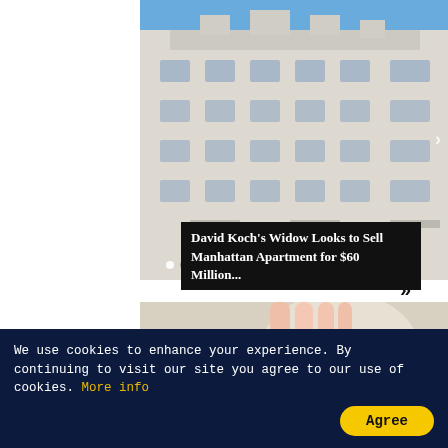[Figure (photo): Exterior of a large ornate white apartment building in Manhattan, with multiple floors, balconies, and classical architectural details against a blue sky.]
David Koch's Widow Looks to Sell Manhattan Apartment for $60 Million...
[Figure (photo): A hand holding house keys on a keyring, with a blurred model house in the background. A small inset image shows Robert Irwin.]
Robert Irwin Recreat
We use cookies to enhance your experience. By continuing to visit our site you agree to our use of cookies. More info
Agree